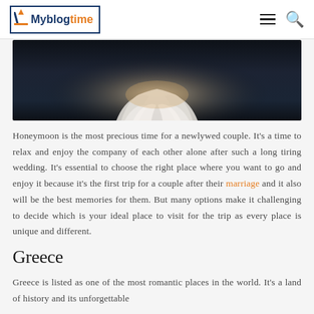Myblogtime
[Figure (photo): A romantic honeymoon scene showing white ruffled fabric (dress or bedding) on a dark navy/black background, lit from behind with warm light.]
Honeymoon is the most precious time for a newlywed couple. It's a time to relax and enjoy the company of each other alone after such a long tiring wedding. It's essential to choose the right place where you want to go and enjoy it because it's the first trip for a couple after their marriage and it also will be the best memories for them. But many options make it challenging to decide which is your ideal place to visit for the trip as every place is unique and different.
Greece
Greece is listed as one of the most romantic places in the world. It's a land of history and its unforgettable